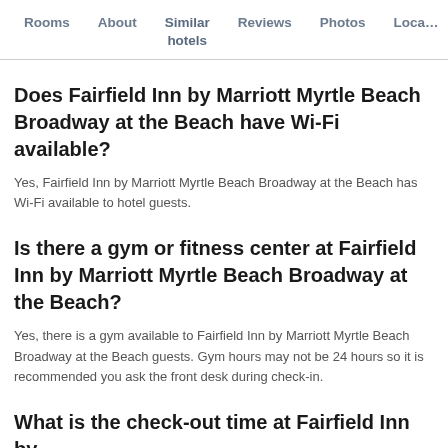Rooms   About   Similar hotels   Reviews   Photos   Loca…
Does Fairfield Inn by Marriott Myrtle Beach Broadway at the Beach have Wi-Fi available?
Yes, Fairfield Inn by Marriott Myrtle Beach Broadway at the Beach has Wi-Fi available to hotel guests.
Is there a gym or fitness center at Fairfield Inn by Marriott Myrtle Beach Broadway at the Beach?
Yes, there is a gym available to Fairfield Inn by Marriott Myrtle Beach Broadway at the Beach guests. Gym hours may not be 24 hours so it is recommended you ask the front desk during check-in.
What is the check-out time at Fairfield Inn by